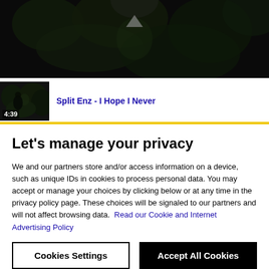[Figure (screenshot): Dark video player screenshot showing a dimly lit scene with foliage]
[Figure (screenshot): Video thumbnail with dark scene and timestamp 4:39, titled Split Enz - I Hope I Never]
Split Enz - I Hope I Never
Let's manage your privacy
We and our partners store and/or access information on a device, such as unique IDs in cookies to process personal data. You may accept or manage your choices by clicking below or at any time in the privacy policy page. These choices will be signaled to our partners and will not affect browsing data. Read our Cookie and Internet Advertising Policy
Cookies Settings
Accept All Cookies